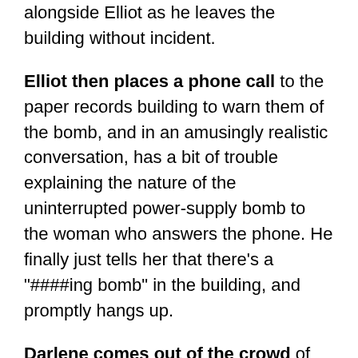alongside Elliot as he leaves the building without incident.
Elliot then places a phone call to the paper records building to warn them of the bomb, and in an amusingly realistic conversation, has a bit of trouble explaining the nature of the uninterrupted power-supply bomb to the woman who answers the phone. He finally just tells her that there’s a “####ing bomb” in the building, and promptly hangs up.
Darlene comes out of the crowd of protesters and greets Elliot.
DARLENE TELLS ALL, AND ELLIOT, NATURALLY, IS NOT